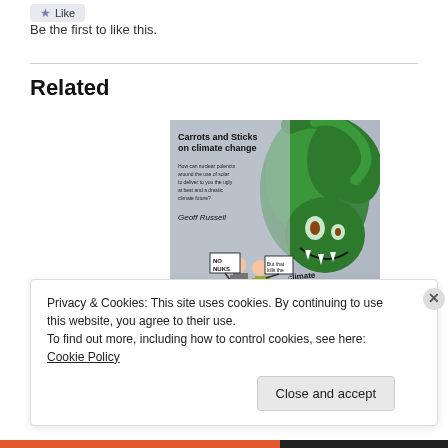Like
Be the first to like this.
Related
[Figure (illustration): Book cover illustration showing a green monster labeled 'climate change' looming over two protesters holding signs 'NO NUKES', with text 'Carrots and Sticks on climate change' and 'Geoff Russell']
Privacy & Cookies: This site uses cookies. By continuing to use this website, you agree to their use.
To find out more, including how to control cookies, see here: Cookie Policy
Close and accept